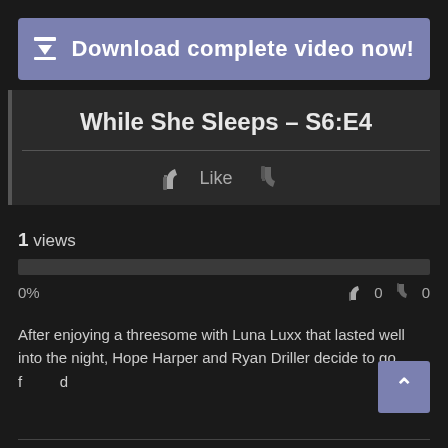Download complete video now!
While She Sleeps – S6:E4
Like
1 views
0%   0   0
After enjoying a threesome with Luna Luxx that lasted well into the night, Hope Harper and Ryan Driller decide to go f...d
Read more